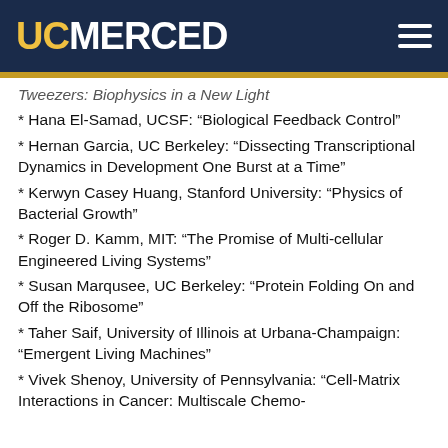UC MERCED
Tweezers: Biophysics in a New Light
* Hana El-Samad, UCSF: “Biological Feedback Control”
* Hernan Garcia, UC Berkeley: “Dissecting Transcriptional Dynamics in Development One Burst at a Time”
* Kerwyn Casey Huang, Stanford University: “Physics of Bacterial Growth”
* Roger D. Kamm, MIT: “The Promise of Multi-cellular Engineered Living Systems”
* Susan Marqusee, UC Berkeley: “Protein Folding On and Off the Ribosome”
* Taher Saif, University of Illinois at Urbana-Champaign: “Emergent Living Machines”
* Vivek Shenoy, University of Pennsylvania: “Cell-Matrix Interactions in Cancer: Multiscale Chemo-